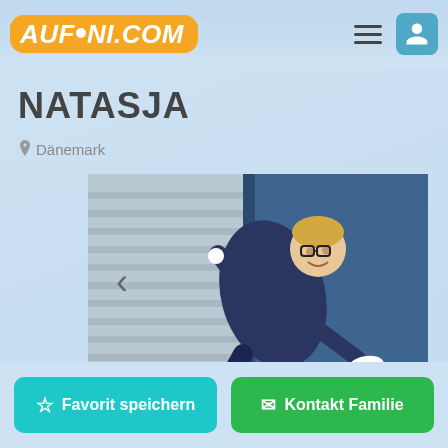AUFINI.COM
NATASJA
Dänemark
[Figure (photo): A young child in a dark navy jacket and pants with white shoes, photographed sideways/rotated against a grey striped wall on the left and a blue wall on the right]
☆ Favorit speichern
✉ Kontakt Familie